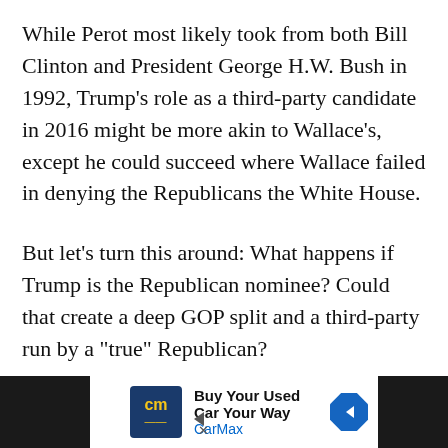While Perot most likely took from both Bill Clinton and President George H.W. Bush in 1992, Trump’s role as a third-party candidate in 2016 might be more akin to Wallace’s, except he could succeed where Wallace failed in denying the Republicans the White House.
But let’s turn this around: What happens if Trump is the Republican nominee? Could that create a deep GOP split and a third-party run by a “true” Republican?
[Figure (other): CarMax advertisement banner: blue CM logo, text 'Buy Your Used Car Your Way' and 'CarMax', blue diamond arrow icon on right]